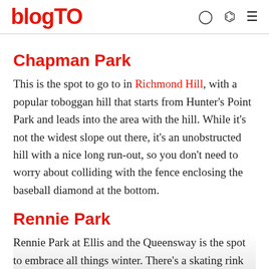blogTO
Chapman Park
This is the spot to go to in Richmond Hill, with a popular toboggan hill that starts from Hunter's Point Park and leads into the area with the hill. While it's not the widest slope out there, it's an unobstructed hill with a nice long run-out, so you don't need to worry about colliding with the fence enclosing the baseball diamond at the bottom.
Rennie Park
Rennie Park at Ellis and the Queensway is the spot to embrace all things winter. There's a skating rink and a hockey pad, but the Rennie Hill, located on the southwest